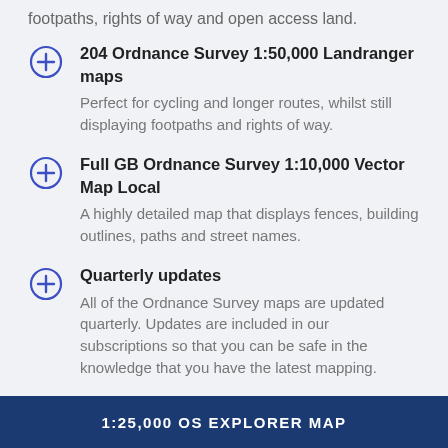footpaths, rights of way and open access land.
204 Ordnance Survey 1:50,000 Landranger maps – Perfect for cycling and longer routes, whilst still displaying footpaths and rights of way.
Full GB Ordnance Survey 1:10,000 Vector Map Local – A highly detailed map that displays fences, building outlines, paths and street names.
Quarterly updates – All of the Ordnance Survey maps are updated quarterly. Updates are included in our subscriptions so that you can be safe in the knowledge that you have the latest mapping.
1:25,000 OS EXPLORER MAP